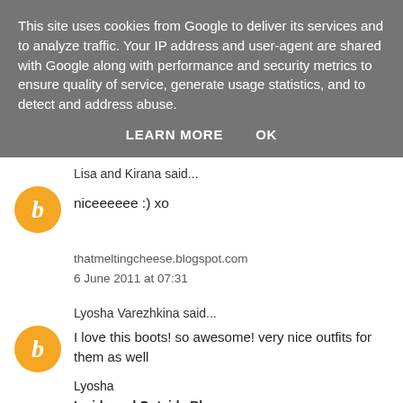This site uses cookies from Google to deliver its services and to analyze traffic. Your IP address and user-agent are shared with Google along with performance and security metrics to ensure quality of service, generate usage statistics, and to detect and address abuse.
LEARN MORE   OK
Lisa and Kirana said...
niceeeeee :) xo
thatmeltingcheese.blogspot.com
6 June 2011 at 07:31
Lyosha Varezhkina said...
I love this boots! so awesome! very nice outfits for them as well
Lyosha
Inside and Outside Blog
6 June 2011 at 08:27
Anonymous said